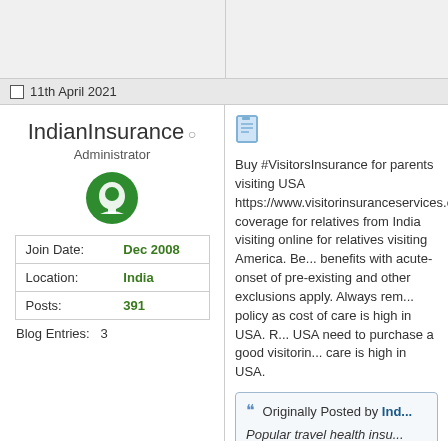11th April 2021
IndianInsurance
Administrator
| Join Date: | Dec 2008 |
| Location: | India |
| Posts: | 391 |
Blog Entries:   3
Buy #VisitorsInsurance for parents visiting USA https://www.visitorinsuranceservices.co... coverage for relatives from India visiting online for relatives visiting America. Benefits with acute-onset of pre-existing and other exclusions apply. Always remember policy as cost of care is high in USA. Relatives visiting USA need to purchase a good visitor insurance as cost of care is high in USA.
Originally Posted by IndianInsurance
Popular travel health insurance plans that offer best visitors medical coverage for USA visitors...

Atlas America Insurance https://www.atlasamerica... (Atlas Premium offers best coverage)
Patriot America Plus -